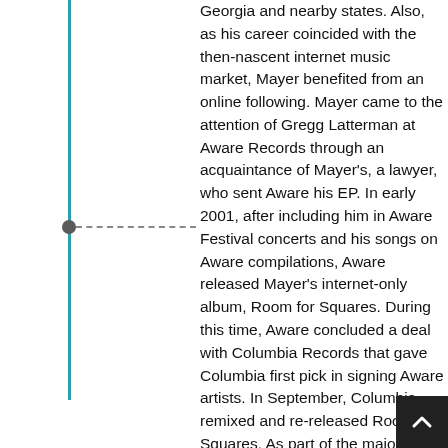Georgia and nearby states. Also, as his career coincided with the then-nascent internet music market, Mayer benefited from an online following. Mayer came to the attention of Gregg Latterman at Aware Records through an acquaintance of Mayer's, a lawyer, who sent Aware his EP. In early 2001, after including him in Aware Festival concerts and his songs on Aware compilations, Aware released Mayer's internet-only album, Room for Squares. During this time, Aware concluded a deal with Columbia Records that gave Columbia first pick in signing Aware artists. In September, Columbia remixed and re-released Room for Squares. As part of the major label "debut", the album's artwork was updated, and the track "3x5" was added. The re-release included reworked studio versions of the first four songs from Inside Wants Out. Mayer began touring as a solo artist in 2001. While his early records were largely acoustic, early reviewers noted his unexpected electric "guitar heroics" during live performances.